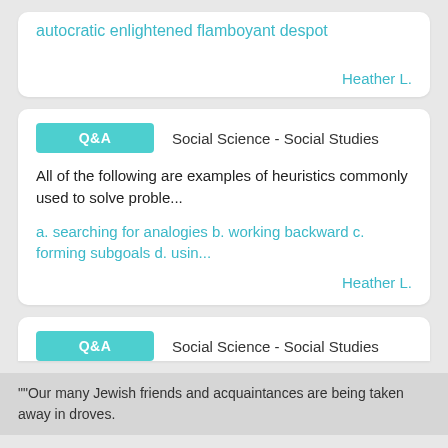autocratic enlightened flamboyant despot
Heather L.
Q&A  Social Science - Social Studies
All of the following are examples of heuristics commonly used to solve proble...
a. searching for analogies b. working backward c. forming subgoals d. usin...
Heather L.
Q&A  Social Science - Social Studies
""Our many Jewish friends and acquaintances are being taken away in droves.